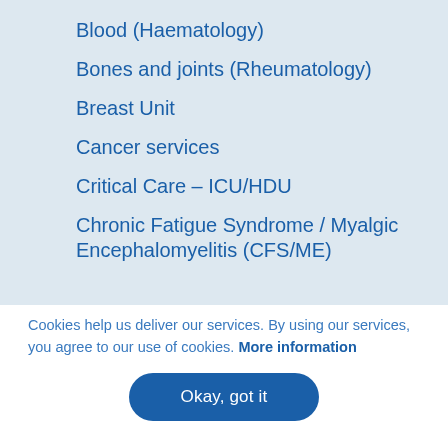Blood (Haematology)
Bones and joints (Rheumatology)
Breast Unit
Cancer services
Critical Care – ICU/HDU
Chronic Fatigue Syndrome / Myalgic Encephalomyelitis (CFS/ME)
Cookies help us deliver our services. By using our services, you agree to our use of cookies. More information
Okay, got it